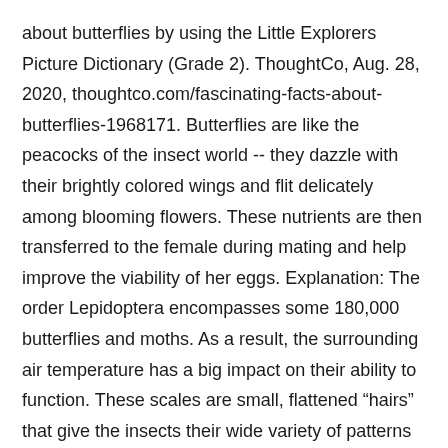about butterflies by using the Little Explorers Picture Dictionary (Grade 2). ThoughtCo, Aug. 28, 2020, thoughtco.com/fascinating-facts-about-butterflies-1968171. Butterflies are like the peacocks of the insect world -- they dazzle with their brightly colored wings and flit delicately among blooming flowers. These nutrients are then transferred to the female during mating and help improve the viability of her eggs. Explanation: The order Lepidoptera encompasses some 180,000 butterflies and moths. As a result, the surrounding air temperature has a big impact on their ability to function. These scales are small, flattened “hair s” that give the insects their wide variety of patterns and colors. 10 Amazing Facts About The Monarch Butterfly The monarch butterfly is the most beautiful and interesting creature in the insect world, and its migration is a source of fascination for many. Butterfly Quiz: Grades 2-3 A scavenger hunt for students in grades 2-3, using the web site Zoom Butterflies. Female monarchs lay their eggs